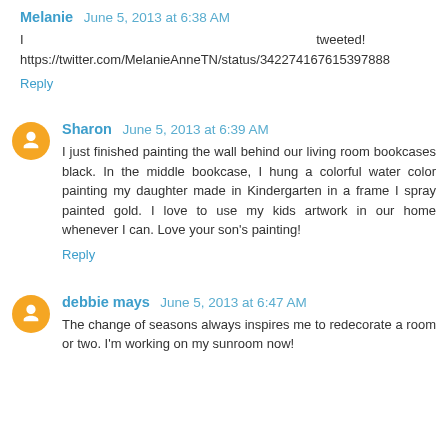Melanie June 5, 2013 at 6:38 AM
I tweeted! https://twitter.com/MelanieAnneTN/status/342274167615397888
Reply
Sharon June 5, 2013 at 6:39 AM
I just finished painting the wall behind our living room bookcases black. In the middle bookcase, I hung a colorful water color painting my daughter made in Kindergarten in a frame I spray painted gold. I love to use my kids artwork in our home whenever I can. Love your son's painting!
Reply
debbie mays June 5, 2013 at 6:47 AM
The change of seasons always inspires me to redecorate a room or two. I'm working on my sunroom now!